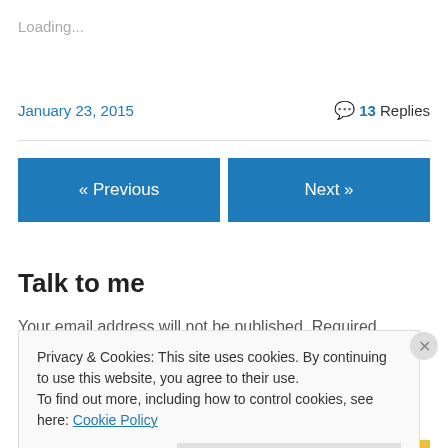Loading...
January 23, 2015
💬 13 Replies
« Previous
Next »
Talk to me
Your email address will not be published. Required
Privacy & Cookies: This site uses cookies. By continuing to use this website, you agree to their use. To find out more, including how to control cookies, see here: Cookie Policy
Close and accept